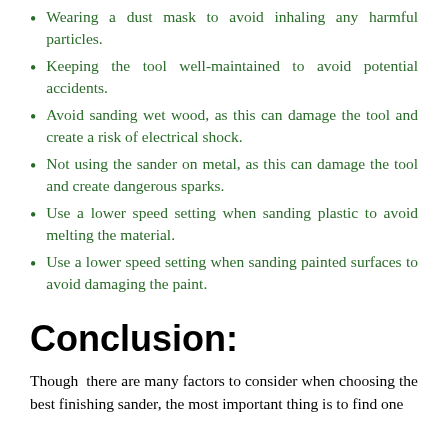Wearing a dust mask to avoid inhaling any harmful particles.
Keeping the tool well-maintained to avoid potential accidents.
Avoid sanding wet wood, as this can damage the tool and create a risk of electrical shock.
Not using the sander on metal, as this can damage the tool and create dangerous sparks.
Use a lower speed setting when sanding plastic to avoid melting the material.
Use a lower speed setting when sanding painted surfaces to avoid damaging the paint.
Conclusion:
Though there are many factors to consider when choosing the best finishing sander, the most important thing is to find one